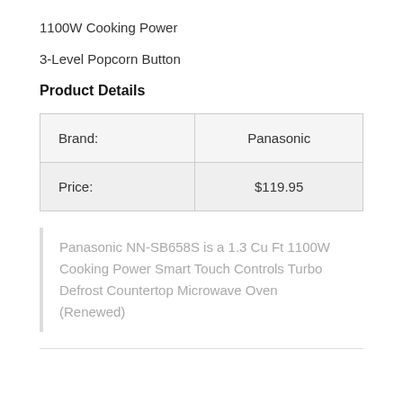1100W Cooking Power
3-Level Popcorn Button
Product Details
|  |  |
| --- | --- |
| Brand: | Panasonic |
| Price: | $119.95 |
Panasonic NN-SB658S is a 1.3 Cu Ft 1100W Cooking Power Smart Touch Controls Turbo Defrost Countertop Microwave Oven (Renewed)